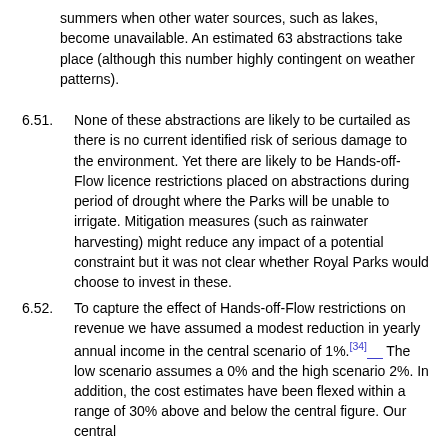summers when other water sources, such as lakes, become unavailable. An estimated 63 abstractions take place (although this number highly contingent on weather patterns).
6.51. None of these abstractions are likely to be curtailed as there is no current identified risk of serious damage to the environment. Yet there are likely to be Hands-off-Flow licence restrictions placed on abstractions during period of drought where the Parks will be unable to irrigate. Mitigation measures (such as rainwater harvesting) might reduce any impact of a potential constraint but it was not clear whether Royal Parks would choose to invest in these.
6.52. To capture the effect of Hands-off-Flow restrictions on revenue we have assumed a modest reduction in yearly annual income in the central scenario of 1%.[34] The low scenario assumes a 0% and the high scenario 2%. In addition, the cost estimates have been flexed within a range of 30% above and below the central figure. Our central financial...